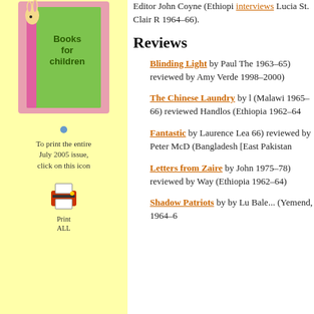[Figure (illustration): Book cover illustration showing a rabbit peeking from behind a green book, with text 'Books for children' on the cover, pink border]
To print the entire July 2005 issue, click on this icon
[Figure (illustration): Print icon (printer graphic) with label 'Print ALL' below]
Editor John Coyne (Ethiopi... interviews Lucia St. Clair R... 1964–66).
Reviews
Blinding Light by Paul The... 1963–65) reviewed by Amy... Verde 1998–2000)
The Chinese Laundry by l... (Malawi 1965–66) reviewed... Handlos (Ethiopia 1962–64...
Fantastic by Laurence Lea... 66) reviewed by Peter McD... (Bangladesh [East Pakistan...
Letters from Zaire by John... 1975–78) reviewed by Way... (Ethiopia 1962–64)
Shadow Patriots by by Lu... Bale... (Yemend, 1964–6...